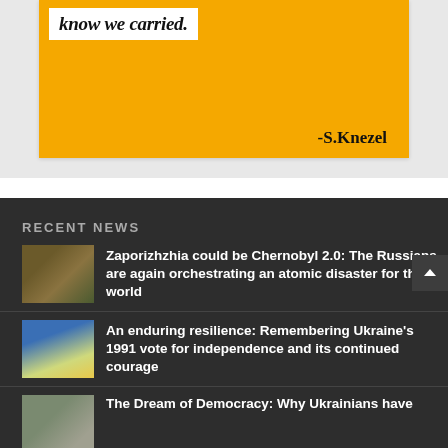[Figure (illustration): Orange/yellow watercolor background with a white text box containing a handwritten-style quote and attribution '-S.Knezel']
RECENT NEWS
Zaporizhzhia could be Chernobyl 2.0: The Russians are again orchestrating an atomic disaster for the world
An enduring resilience: Remembering Ukraine's 1991 vote for independence and its continued courage
The Dream of Democracy: Why Ukrainians have...